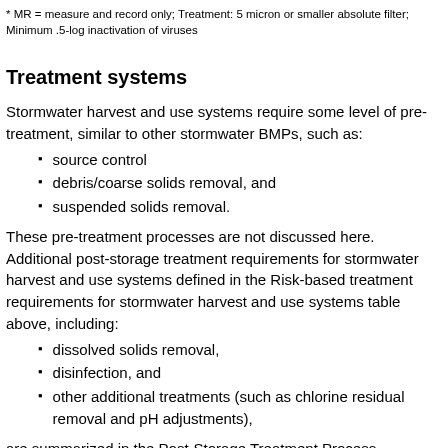* MR = measure and record only; Treatment: 5 micron or smaller absolute filter; Minimum .5-log inactivation of viruses
Treatment systems
Stormwater harvest and use systems require some level of pre-treatment, similar to other stormwater BMPs, such as:
source control
debris/coarse solids removal, and
suspended solids removal.
These pre-treatment processes are not discussed here. Additional post-storage treatment requirements for stormwater harvest and use systems defined in the Risk-based treatment requirements for stormwater harvest and use systems table above, including:
dissolved solids removal,
disinfection, and
other additional treatments (such as chlorine residual removal and pH adjustments),
are summarized in the Post-Storage Treatment Process